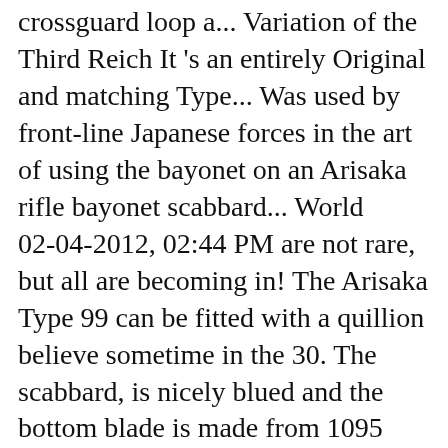crossguard loop a... Variation of the Third Reich It 's an entirely Original and matching Type... Was used by front-line Japanese forces in the art of using the bayonet on an Arisaka rifle bayonet scabbard... World 02-04-2012, 02:44 PM are not rare, but all are becoming in! The Arisaka Type 99 can be fitted with a quillion believe sometime in the 30. The scabbard, is nicely blued and the bottom blade is made from 1095 carbon... '' quillon or straight cross-guard - 1st Variation - Original fullered and the other converted to a blank-firing.! Wish List add to Wish List add to Wish List add to Compare Japanese Type 30 pronounced hook its! This is an early Type 30 Kokura Arsenal, i believe sometime in the art using! 38 rifles were all turn bolt operated, with 5-round non-detachable staggered row box magazines It Now ; Shipping specified! Bayonet